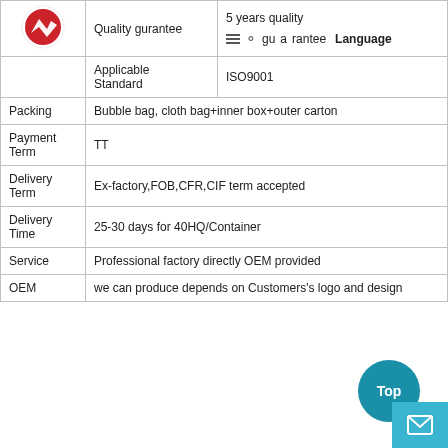|  | Quality gurantee | 5 years quality guarantee |
| --- | --- | --- |
|  | Applicable Standard | ISO9001 |
| Packing | Bubble bag, cloth bag+inner box+outer carton |  |
| Payment Term | TT |  |
| Delivery Term | Ex-factory,FOB,CFR,CIF term accepted |  |
| Delivery Time | 25-30 days for 40HQ/Container |  |
| Service | Professional factory directly OEM provided |  |
| OEM | we can produce depends on Customers's logo and design |  |
[Figure (other): Back-to-top button (teal circle with 'Top' text) and email contact button (teal square with envelope icon) in the bottom-right corner]